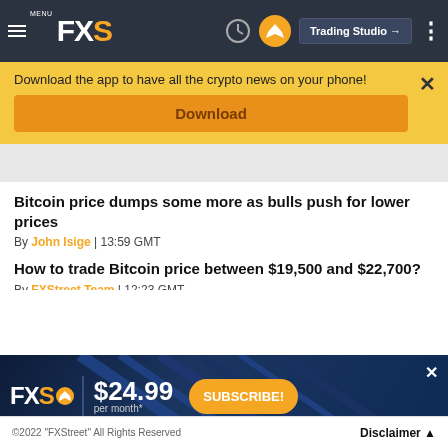MENU FXS | Trading Studio
Download the app to have all the crypto news on your phone!
Download
Bitcoin price dumps some more as bulls push for lower prices
By John Isige | 13:59 GMT
How to trade Bitcoin price between $19,500 and $22,700?
By FXStreet Team | 12:23 GMT
ETH
[Figure (screenshot): FXS subscription ad banner: FXS logo, $24.99 per month*, SUBSCRIBE! button on dark blue background]
©2022 "FXStreet" All Rights Reserved   Disclaimer ▲